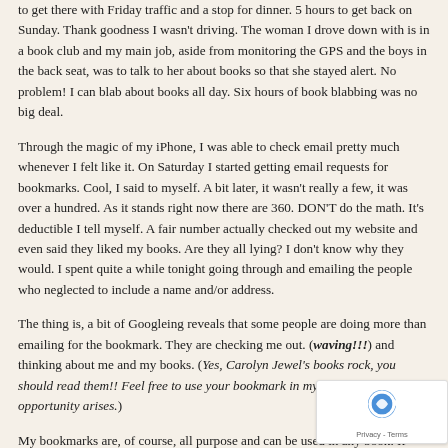to get there with Friday traffic and a stop for dinner. 5 hours to get back on Sunday. Thank goodness I wasn't driving. The woman I drove down with is in a book club and my main job, aside from monitoring the GPS and the boys in the back seat, was to talk to her about books so that she stayed alert. No problem! I can blab about books all day. Six hours of book blabbing was no big deal.
Through the magic of my iPhone, I was able to check email pretty much whenever I felt like it. On Saturday I started getting email requests for bookmarks. Cool, I said to myself. A bit later, it wasn't really a few, it was over a hundred. As it stands right now there are 360. DON'T do the math. It's deductible I tell myself. A fair number actually checked out my website and even said they liked my books. Are they all lying? I don't know why they would. I spent quite a while tonight going through and emailing the people who neglected to include a name and/or address.
The thing is, a bit of Googleing reveals that some people are doing more than emailing for the bookmark. They are checking me out. (waving!!!) and thinking about me and my books. (Yes, Carolyn Jewel's books rock, you should read them!! Feel free to use your bookmark in my books when opportunity arises.)
My bookmarks are, of course, all purpose and can be used in any book. If you're a ninja you could probably take someone out with one, though I must say, I consider that an unauthorized and unwise use of a bookmark.
The next best part is the origins: most from the US as you'd expect. But Jordan, Spain, Lithuania, Malaysia, India, the UK and Canada. I get a out of sending bookmarks overseas. Once, I sent some to Nigeria.